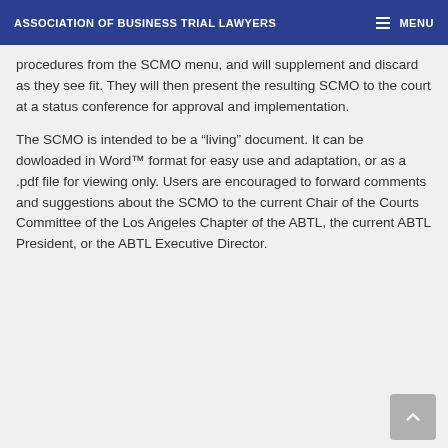ASSOCIATION OF BUSINESS TRIAL LAWYERS   MENU
procedures from the SCMO menu, and will supplement and discard as they see fit. They will then present the resulting SCMO to the court at a status conference for approval and implementation.
The SCMO is intended to be a “living” document. It can be dowloaded in Word™ format for easy use and adaptation, or as a .pdf file for viewing only. Users are encouraged to forward comments and suggestions about the SCMO to the current Chair of the Courts Committee of the Los Angeles Chapter of the ABTL, the current ABTL President, or the ABTL Executive Director.